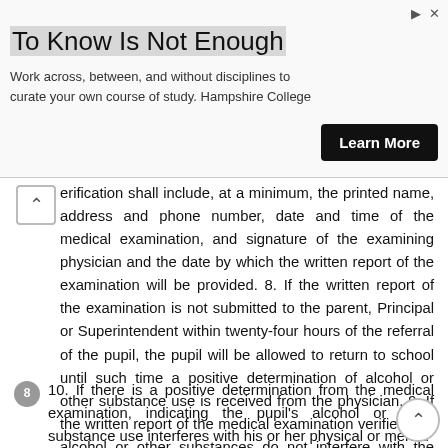[Figure (other): Advertisement banner: 'To Know Is Not Enough' with subtitle 'Work across, between, and without disciplines to curate your own course of study. Hampshire College' and a 'Learn More' button.]
erification shall include, at a minimum, the printed name, address and phone number, date and time of the medical examination, and signature of the examining physician and the date by which the written report of the examination will be provided. 8. If the written report of the examination is not submitted to the parent, Principal or Superintendent within twenty-four hours of the referral of the pupil, the pupil will be allowed to return to school until such time a positive determination of alcohol or other substance use is received from the physician. 9. If the written report of the medical examination verifies that alcohol or other substances do not interfere with the pupil's physical and mental ability to perform in school, the pupil will be immediately returned to school. -7-
10. If there is a positive determination from the medical examination, indicating the pupil's alcohol or other substance use interferes with his or her physical or mental